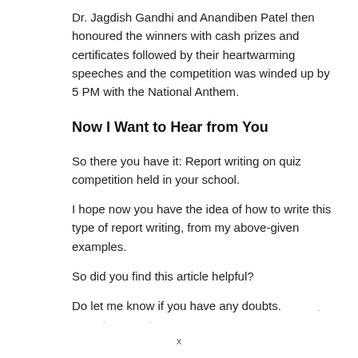Dr. Jagdish Gandhi and Anandiben Patel then honoured the winners with cash prizes and certificates followed by their heartwarming speeches and the competition was winded up by 5 PM with the National Anthem.
Now I Want to Hear from You
So there you have it: Report writing on quiz competition held in your school.
I hope now you have the idea of how to write this type of report writing, from my above-given examples.
So did you find this article helpful?
Do let me know if you have any doubts.
x